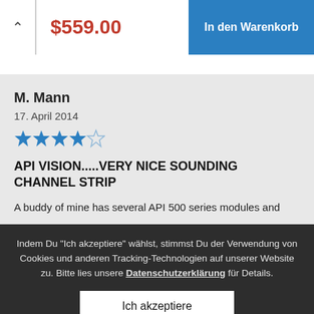$559.00  In den Warenkorb
M. Mann
17. April 2014
[Figure (other): 4 out of 5 stars rating (blue filled stars, one empty)]
API VISION.....VERY NICE SOUNDING CHANNEL STRIP
A buddy of mine has several API 500 series modules and
Indem Du "Ich akzeptiere" wählst, stimmst Du der Verwendung von Cookies und anderen Tracking-Technologien auf unserer Website zu. Bitte lies unsere Datenschutzerklärung für Details.
Ich akzeptiere